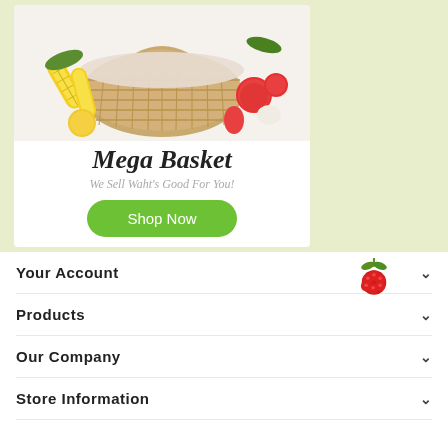[Figure (photo): Wicker basket filled with vegetables and fruits including corn, tomatoes, peppers, garlic on white background]
Mega Basket
We Sell Waht's Good For You!
Shop Now
Your Account
Products
Our Company
Store Information